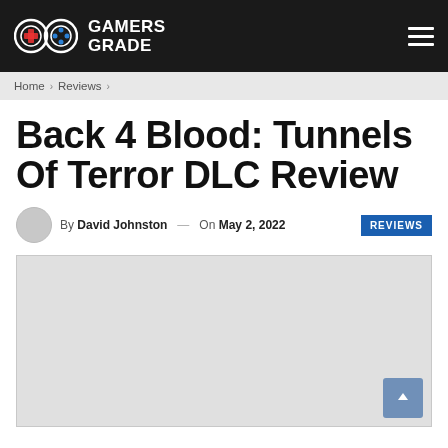Gamers Grade
Home > Reviews >
Back 4 Blood: Tunnels Of Terror DLC Review
By David Johnston — On May 2, 2022
[Figure (photo): Article featured image placeholder (light gray box)]